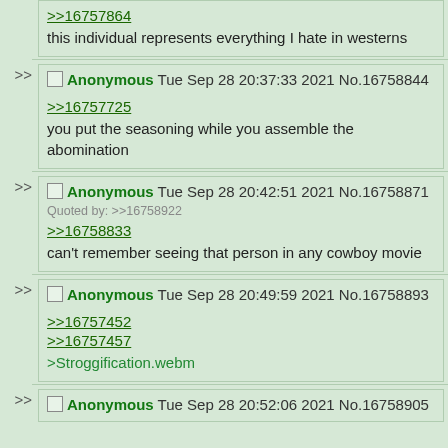>>16757864
this individual represents everything I hate in westerns
Anonymous Tue Sep 28 20:37:33 2021 No.16758844
>>16757725
you put the seasoning while you assemble the abomination
Anonymous Tue Sep 28 20:42:51 2021 No.16758871
Quoted by: >>16758922
>>16758833
can't remember seeing that person in any cowboy movie
Anonymous Tue Sep 28 20:49:59 2021 No.16758893
>>16757452
>>16757457
>Stroggification.webm
Anonymous Tue Sep 28 20:52:06 2021 No.16758905